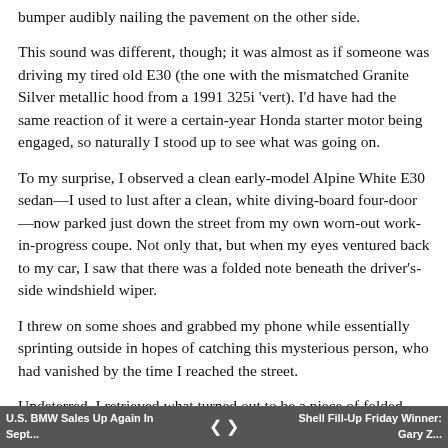bumper audibly nailing the pavement on the other side.
This sound was different, though; it was almost as if someone was driving my tired old E30 (the one with the mismatched Granite Silver metallic hood from a 1991 325i 'vert). I'd have had the same reaction of it were a certain-year Honda starter motor being engaged, so naturally I stood up to see what was going on.
To my surprise, I observed a clean early-model Alpine White E30 sedan—I used to lust after a clean, white diving-board four-door—now parked just down the street from my own worn-out work-in-progress coupe. Not only that, but when my eyes ventured back to my car, I saw that there was a folded note beneath the driver's-side windshield wiper.
I threw on some shoes and grabbed my phone while essentially sprinting outside in hopes of catching this mysterious person, who had vanished by the time I reached the street.
Undeterred, I retrieved what turned out to be a piece of folded notebook paper from the windshield of my 1985 325e. The note was brief and hastily written, but described my E30 as cool, and was signed "the other 325." Strolling down the street, I snapped a few pictures of the white sedan; it wasn't perfect—the paint had a
U.S. BMW Sales Up Again In Sept... | < > | Shell Fill-Up Friday Winner: Gary Z...